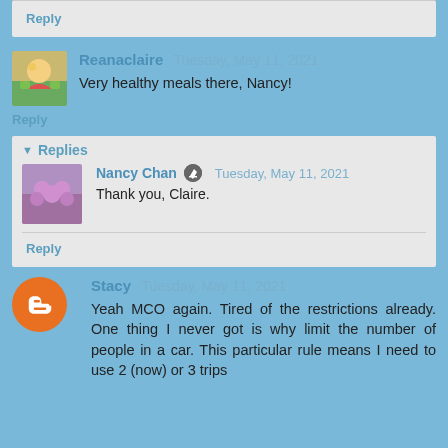Reply
Reanaclaire  Tuesday, May 11, 2021
Very healthy meals there, Nancy!
Reply
Replies
Nancy Chan  Tuesday, May 11, 2021
Thank you, Claire.
Reply
Stacy  Tuesday, May 11, 2021
Yeah MCO again. Tired of the restrictions already. One thing I never got is why limit the number of people in a car. This particular rule means I need to use 2 (now) or 3 trips